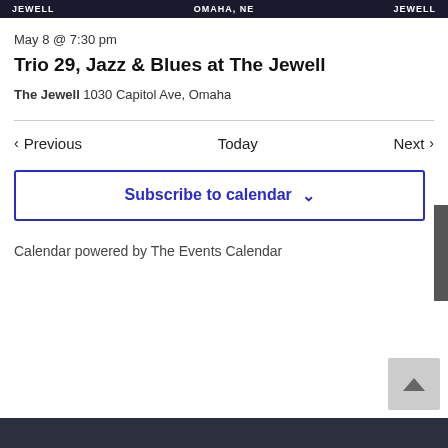JEWELL   OMAHA, NE   JEWELL
May 8 @ 7:30 pm
Trio 29, Jazz & Blues at The Jewell
The Jewell 1030 Capitol Ave, Omaha
< Previous   Today   Next >
Subscribe to calendar
Calendar powered by The Events Calendar